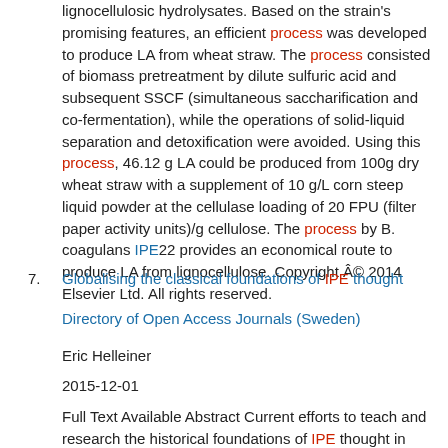lignocellulosic hydrolysates. Based on the strain's promising features, an efficient process was developed to produce LA from wheat straw. The process consisted of biomass pretreatment by dilute sulfuric acid and subsequent SSCF (simultaneous saccharification and co-fermentation), while the operations of solid-liquid separation and detoxification were avoided. Using this process, 46.12 g LA could be produced from 100g dry wheat straw with a supplement of 10 g/L corn steep liquid powder at the cellulase loading of 20 FPU (filter paper activity units)/g cellulose. The process by B. coagulans IPE22 provides an economical route to produce LA from lignocellulose. Copyright © 2014 Elsevier Ltd. All rights reserved.
7. Globalising the classical foundations of IPE thought
Directory of Open Access Journals (Sweden)
Eric Helleiner
2015-12-01
Full Text Available Abstract Current efforts to teach and research the historical foundations of IPE thought in classical political economy in the 18th, 19th and early 20th centuries